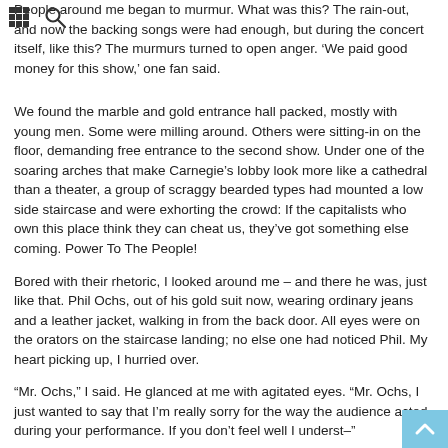grid icon and search icon navigation bar
People around me began to murmur. What was this? The rain-out, and now the backing songs were had enough, but during the concert itself, like this? The murmurs turned to open anger. 'We paid good money for this show,' one fan said.
We found the marble and gold entrance hall packed, mostly with young men. Some were milling around. Others were sitting-in on the floor, demanding free entrance to the second show. Under one of the soaring arches that make Carnegie's lobby look more like a cathedral than a theater, a group of scraggy bearded types had mounted a low side staircase and were exhorting the crowd: If the capitalists who own this place think they can cheat us, they've got something else coming. Power To The People!
Bored with their rhetoric, I looked around me – and there he was, just like that. Phil Ochs, out of his gold suit now, wearing ordinary jeans and a leather jacket, walking in from the back door. All eyes were on the orators on the staircase landing; no else one had noticed Phil. My heart picking up, I hurried over.
“Mr. Ochs,” I said. He glanced at me with agitated eyes. “Mr. Ochs, I just wanted to say that I’m really sorry for the way the audience acted during your performance. If you don’t feel well I underst–”
“Can you hold this for me?”